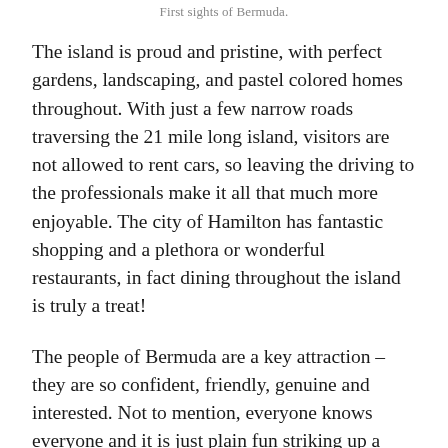First sights of Bermuda.
The island is proud and pristine, with perfect gardens, landscaping, and pastel colored homes throughout. With just a few narrow roads traversing the 21 mile long island, visitors are not allowed to rent cars, so leaving the driving to the professionals make it all that much more enjoyable. The city of Hamilton has fantastic shopping and a plethora or wonderful restaurants, in fact dining throughout the island is truly a treat!
The people of Bermuda are a key attraction – they are so confident, friendly, genuine and interested. Not to mention, everyone knows everyone and it is just plain fun striking up a conversation wherever you can.  I learned at one fun group lunch where a cast of characters kept popping up at our table to say hello, that